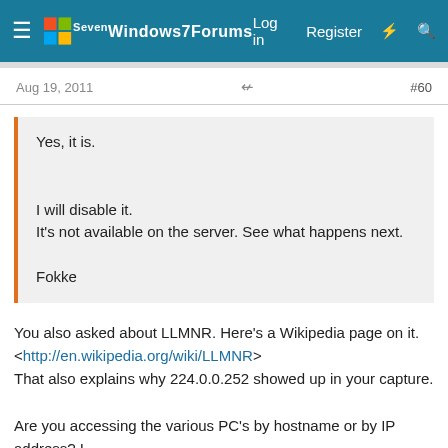Windows 7 Forums  Log in  Register  #60
Aug 19, 2011  #60
Yes, it is.

I will disable it.
It's not available on the server. See what happens next.

Fokke
You also asked about LLMNR. Here's a Wikipedia page on it. <http://en.wikipedia.org/wiki/LLMNR>
That also explains why 224.0.0.252 showed up in your capture.

Are you accessing the various PC's by hostname or by IP address? I
always use IP address because it seems to be more reliable and doesn't